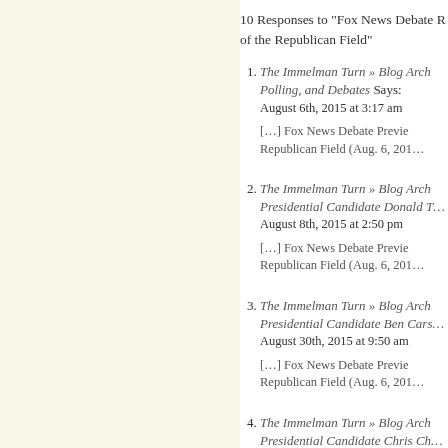10 Responses to “Fox News Debate Preview of the Republican Field”
The Immelman Turn » Blog Archives: Polling, and Debates Says:
August 6th, 2015 at 3:17 am
[...] Fox News Debate Preview Republican Field (Aug. 6, 201…
The Immelman Turn » Blog Archives: Presidential Candidate Donald T…
August 8th, 2015 at 2:50 pm
[...] Fox News Debate Preview Republican Field (Aug. 6, 201…
The Immelman Turn » Blog Archives: Presidential Candidate Ben Cars…
August 30th, 2015 at 9:50 am
[...] Fox News Debate Preview Republican Field (Aug. 6, 201…
The Immelman Turn » Blog Archives: Presidential Candidate Chris Ch…
September 5th, 2015 at 11:01 pm
[...] Fox News Debate Preview Republican Field (Aug. 6, 201…
The Immelman Turn » Blog Archives: Presidential Candidate Ted Cr…